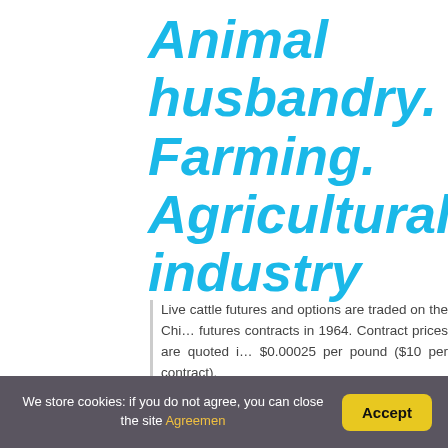Animal husbandry. Farming. Agricultural industry
Live cattle futures and options are traded on the Chi… futures contracts in 1964. Contract prices are quoted i… $0.00025 per pound ($10 per contract).
You might be interested: Quick Answer: W…
We store cookies: if you do not agree, you can close the site Agreement